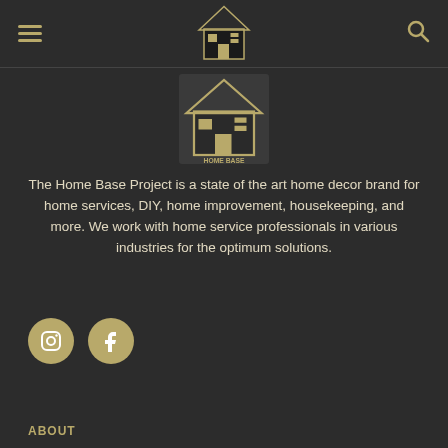Home Base Project - navigation bar with hamburger menu and search icon
[Figure (logo): Home Base Project logo - gold/black house icon with text HOME BASE PROJECT]
The Home Base Project is a state of the art home decor brand for home services, DIY, home improvement, housekeeping, and more. We work with home service professionals in various industries for the optimum solutions.
[Figure (other): Social media icons: Instagram and Facebook circles in gold]
ABOUT